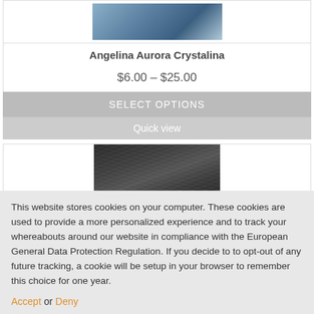[Figure (photo): Product image of Angelina Aurora Crystalina material, showing a shimmery blue-grey textile or fiber]
Angelina Aurora Crystalina
$6.00 – $25.00
SELECT OPTIONS
Quick view
[Figure (photo): Product image showing dark grey/black fibrous material texture]
This website stores cookies on your computer. These cookies are used to provide a more personalized experience and to track your whereabouts around our website in compliance with the European General Data Protection Regulation. If you decide to to opt-out of any future tracking, a cookie will be setup in your browser to remember this choice for one year.
Accept or Deny